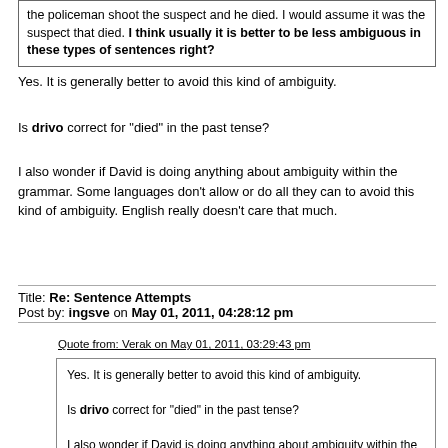the policeman shoot the suspect and he died. I would assume it was the suspect that died. I think usually it is better to be less ambiguous in these types of sentences right?
Yes. It is generally better to avoid this kind of ambiguity.
Is drivo correct for "died" in the past tense?
I also wonder if David is doing anything about ambiguity within the grammar. Some languages don't allow or do all they can to avoid this kind of ambiguity. English really doesn't care that much.
Title: Re: Sentence Attempts
Post by: ingsve on May 01, 2011, 04:28:12 pm
Quote from: Verak on May 01, 2011, 03:29:43 pm
Yes. It is generally better to avoid this kind of ambiguity.

Is drivo correct for "died" in the past tense?

I also wonder if David is doing anything about ambiguity within the grammar. Some languages don't allow or do all they can to avoid this kind of ambiguity. English really doesn't care that much.
Yes, I think drivo is the correct word.
As for ambiguity, I know that there are several words that need